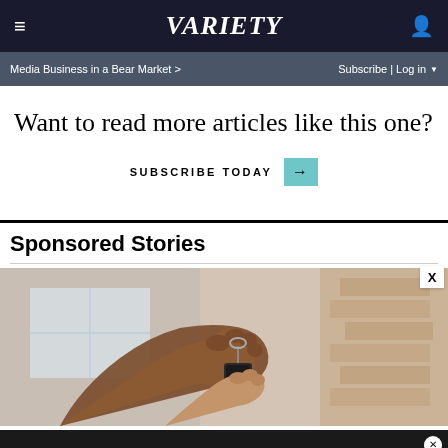≡  VARIETY  👤
Media Business in a Bear Market >   Subscribe | Log in ▼
Want to read more articles like this one?
SUBSCRIBE TODAY →
Sponsored Stories
[Figure (photo): Hand holding car keys being passed to another hand, indoor setting with brick wall background]
BOGO BLINK MINIS GET YOURS NOW / SPY